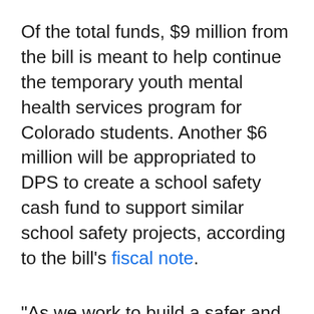Of the total funds, $9 million from the bill is meant to help continue the temporary youth mental health services program for Colorado students. Another $6 million will be appropriated to DPS to create a school safety cash fund to support similar school safety projects, according to the bill's fiscal note.
"As we work to build a safer and healthier Colorado for all, we need to ensure that our schools are better equipped to keep students safe and connect them to the